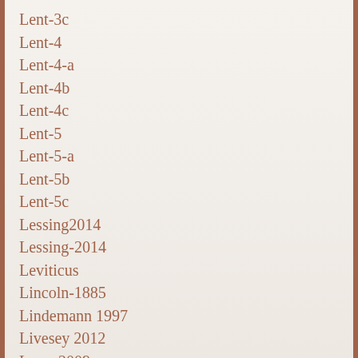Lent-3c
Lent-4
Lent-4-a
Lent-4b
Lent-4c
Lent-5
Lent-5-a
Lent-5b
Lent-5c
Lessing2014
Lessing-2014
Leviticus
Lincoln-1885
Lindemann 1997
Livesey 2012
Long-2009
Lord-1986
Lord-1987
Lord's Prayer